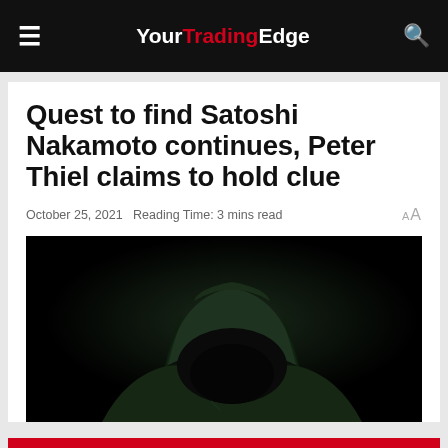YourTradingEdge
Quest to find Satoshi Nakamoto continues, Peter Thiel claims to hold clue
October 25, 2021  Reading Time: 3 mins read
[Figure (photo): A mysterious hooded figure in dark silhouette against a black background, wearing a dark green hoodie, face not visible — symbolic of the anonymous identity of Satoshi Nakamoto.]